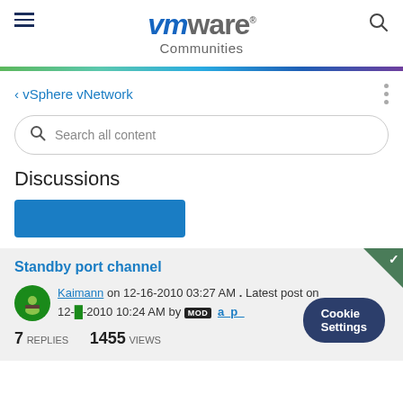vmware Communities
< vSphere vNetwork
Search all content
Discussions
Standby port channel
Kaimann on 12-16-2010 03:27 AM . Latest post on 12-2010 10:24 AM by MOD a_p_
7 REPLIES   1455 VIEWS
Cookie Settings